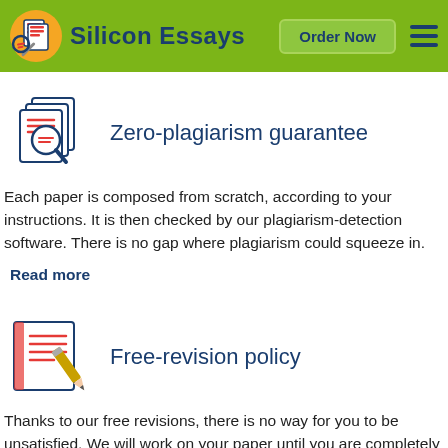Silicon Essays — Order Now
Zero-plagiarism guarantee
Each paper is composed from scratch, according to your instructions. It is then checked by our plagiarism-detection software. There is no gap where plagiarism could squeeze in.
Read more
Free-revision policy
Thanks to our free revisions, there is no way for you to be unsatisfied. We will work on your paper until you are completely happy with the result.